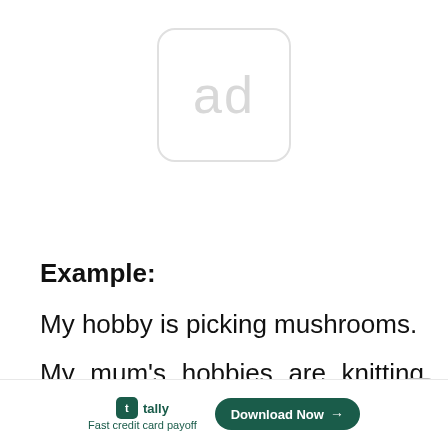[Figure (other): Ad placeholder box with rounded corners showing the text 'ad' in light gray]
Example:
My hobby is picking mushrooms.
My mum's hobbies are knitting and cooking.
My father's hobby is collecting coins.
Tally — Fast credit card payoff | Download Now →